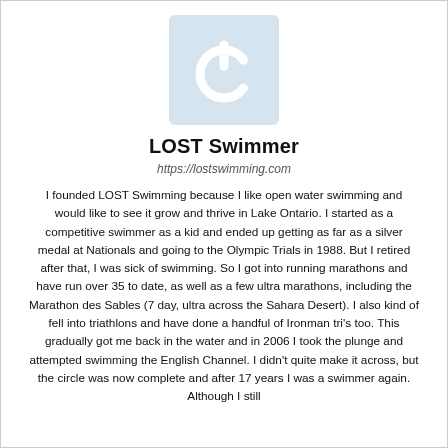[Figure (logo): LOST Swimmer logo: light blue square background with a white power/on button symbol icon in the center]
LOST Swimmer
https://lostswimming.com
I founded LOST Swimming because I like open water swimming and would like to see it grow and thrive in Lake Ontario. I started as a competitive swimmer as a kid and ended up getting as far as a silver medal at Nationals and going to the Olympic Trials in 1988. But I retired after that, I was sick of swimming. So I got into running marathons and have run over 35 to date, as well as a few ultra marathons, including the Marathon des Sables (7 day, ultra across the Sahara Desert). I also kind of fell into triathlons and have done a handful of Ironman tri's too. This gradually got me back in the water and in 2006 I took the plunge and attempted swimming the English Channel. I didn't quite make it across, but the circle was now complete and after 17 years I was a swimmer again. Although I still